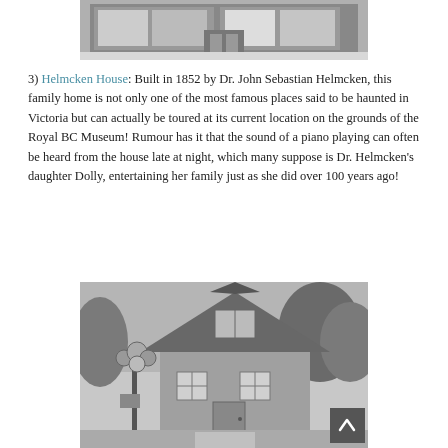[Figure (photo): Black and white photograph of a building storefront, partially visible at the top of the page.]
3) Helmcken House: Built in 1852 by Dr. John Sebastian Helmcken, this family home is not only one of the most famous places said to be haunted in Victoria but can actually be toured at its current location on the grounds of the Royal BC Museum! Rumour has it that the sound of a piano playing can often be heard from the house late at night, which many suppose is Dr. Helmcken’s daughter Dolly, entertaining her family just as she did over 100 years ago!
[Figure (photo): Black and white photograph of Helmcken House, a historic Victorian house with a street lamp in the foreground and trees in the background.]